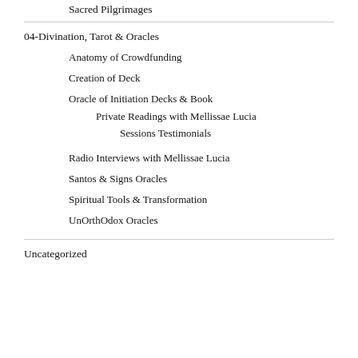Sacred Pilgrimages
04-Divination, Tarot & Oracles
Anatomy of Crowdfunding
Creation of Deck
Oracle of Initiation Decks & Book
Private Readings with Mellissae Lucia
Sessions Testimonials
Radio Interviews with Mellissae Lucia
Santos & Signs Oracles
Spiritual Tools & Transformation
UnOrthOdox Oracles
Uncategorized